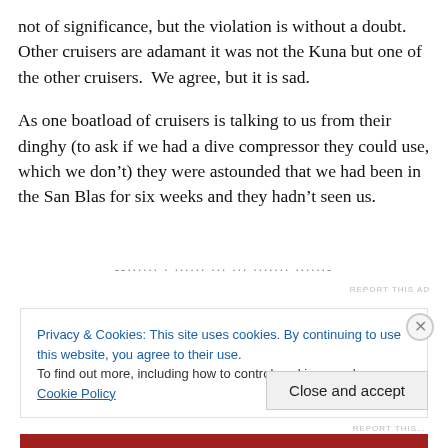not of significance, but the violation is without a doubt. Other cruisers are adamant it was not the Kuna but one of the other cruisers.  We agree, but it is sad.
As one boatload of cruisers is talking to us from their dinghy (to ask if we had a dive compressor they could use, which we don't) they were astounded that we had been in the San Blas for six weeks and they hadn't seen us.
Privacy & Cookies: This site uses cookies. By continuing to use this website, you agree to their use.
To find out more, including how to control cookies, see here: Cookie Policy
Close and accept